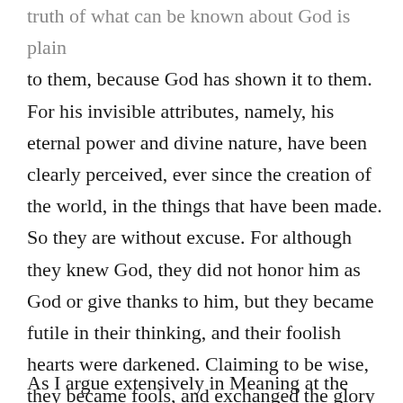truth of what can be known about God is plain to them, because God has shown it to them. For his invisible attributes, namely, his eternal power and divine nature, have been clearly perceived, ever since the creation of the world, in the things that have been made. So they are without excuse. For although they knew God, they did not honor him as God or give thanks to him, but they became futile in their thinking, and their foolish hearts were darkened. Claiming to be wise, they became fools, and exchanged the glory of the immortal God for images resembling mortal man and birds and animals and creeping things. (Romans 1:18-23 ESV)
As I argue extensively in Meaning at the Movies